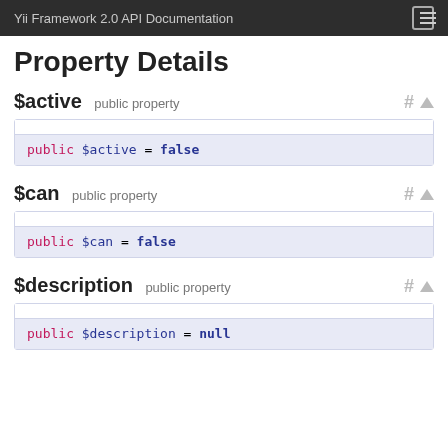Yii Framework 2.0 API Documentation
Property Details
$active  public property
public $active = false
$can  public property
public $can = false
$description  public property
public $description = null